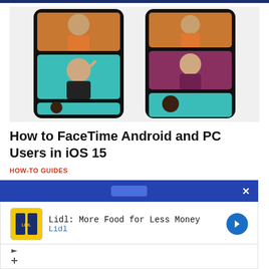[Figure (screenshot): Two smartphone screens showing FaceTime group video call with multiple participants in a grid layout on dark background]
How to FaceTime Android and PC Users in iOS 15
HOW-TO GUIDES
[Figure (screenshot): Advertisement overlay with blue header bar and close button, showing Lidl advertisement: 'Lidl: More Food for Less Money' with Lidl logo, navigation arrow icon, and ad attribution icons]